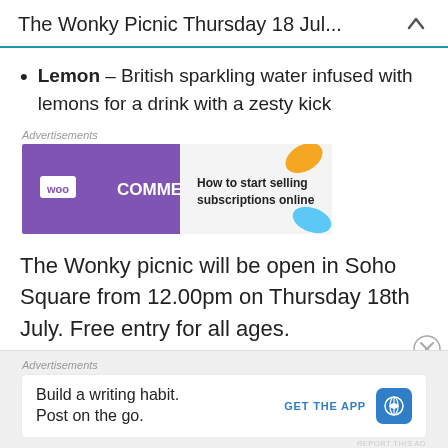The Wonky Picnic Thursday 18 Jul...
Lemon – British sparkling water infused with lemons for a drink with a zesty kick
[Figure (screenshot): WooCommerce advertisement banner: purple background with WooCommerce logo on left, teal arrow shape, text 'How to start selling subscriptions online' on right with orange and blue leaf shapes]
The Wonky picnic will be open in Soho Square from 12.00pm on Thursday 18th July. Free entry for all ages.
[Figure (screenshot): WordPress advertisement: 'Build a writing habit. Post on the go.' with GET THE APP button and WordPress logo]